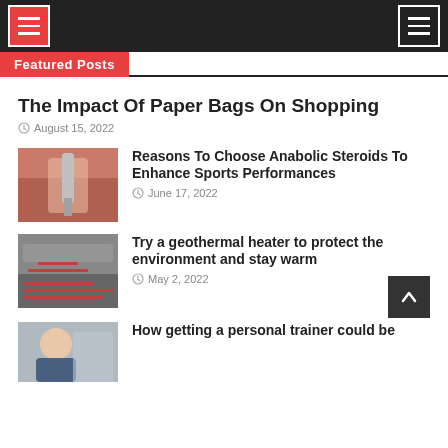Featured Posts
The Impact Of Paper Bags On Shopping
August 15, 2022
[Figure (photo): Hand holding a syringe, close-up]
Reasons To Choose Anabolic Steroids To Enhance Sports Performances
June 17, 2022
[Figure (photo): Geothermal floor heating pipes laid in pattern]
Try a geothermal heater to protect the environment and stay warm
May 2, 2022
[Figure (photo): Man, partial view, personal trainer context]
How getting a personal trainer could be